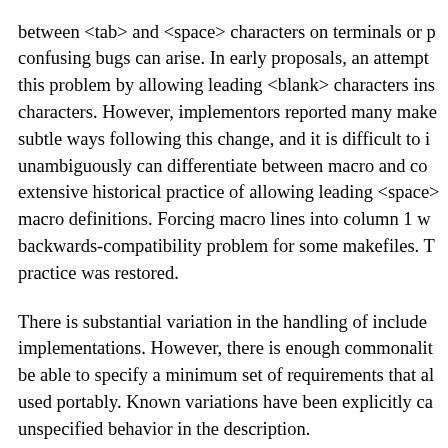between <tab> and <space> characters on terminals or p confusing bugs can arise. In early proposals, an attempt this problem by allowing leading <blank> characters ins characters. However, implementors reported many make subtle ways following this change, and it is difficult to i unambiguously can differentiate between macro and co extensive historical practice of allowing leading <space> macro definitions. Forcing macro lines into column 1 w backwards-compatibility problem for some makefiles. T practice was restored.
There is substantial variation in the handling of include implementations. However, there is enough commonalit be able to specify a minimum set of requirements that al used portably. Known variations have been explicitly ca unspecified behavior in the description.
The System V dynamic dependency feature was not incl support: